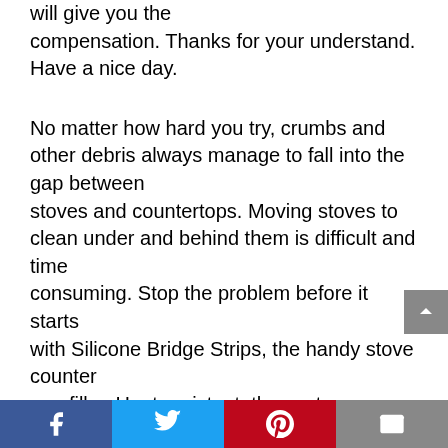will give you the compensation. Thanks for your understand. Have a nice day.
No matter how hard you try, crumbs and other debris always manage to fall into the gap between stoves and countertops. Moving stoves to clean under and behind them is difficult and time consuming. Stop the problem before it starts with Silicone Bridge Strips, the handy stove counter gap filler. Heat-resistant, these stove counter gap covers protect floors from crumbs, spills,
[Figure (other): Social media sharing bar with Facebook, Twitter, Pinterest, and email buttons]